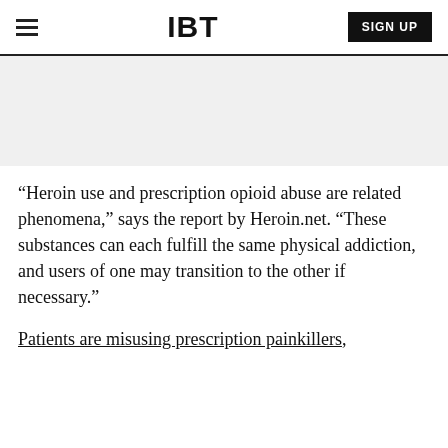IBT | SIGN UP
[Figure (other): Advertisement/banner placeholder area with light gray background]
“Heroin use and prescription opioid abuse are related phenomena,” says the report by Heroin.net. “These substances can each fulfill the same physical addiction, and users of one may transition to the other if necessary.”
Patients are misusing prescription painkillers,